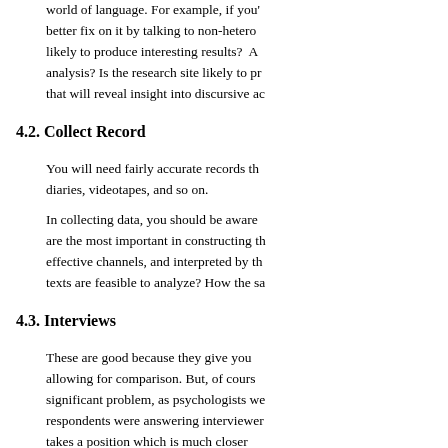world of language. For example, if you' better fix on it by talking to non-hetero likely to produce interesting results? A analysis? Is the research site likely to pr that will reveal insight into discursive ac
4.2. Collect Record
You will need fairly accurate records th diaries, videotapes, and so on.
In collecting data, you should be aware are the most important in constructing th effective channels, and interpreted by th texts are feasible to analyze? How the sa
4.3. Interviews
These are good because they give you allowing for comparison. But, of cours significant problem, as psychologists we respondents were answering interviewer takes a position which is much closer 'interviews have been used extensively producing colourless interaction. Howe dependent on the sculpture of questions